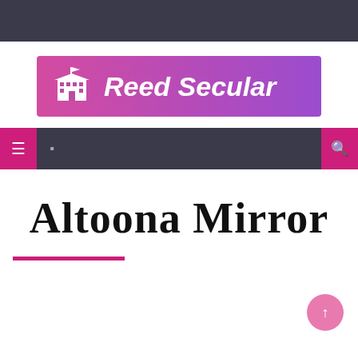[Figure (logo): Reed Secular logo banner with gradient pink-to-purple background, white school building icon and white bold italic text 'Reed Secular']
[Figure (screenshot): Navigation bar with dark background, pink menu button, small icon button, and pink search icon on right]
Altoona Mirror